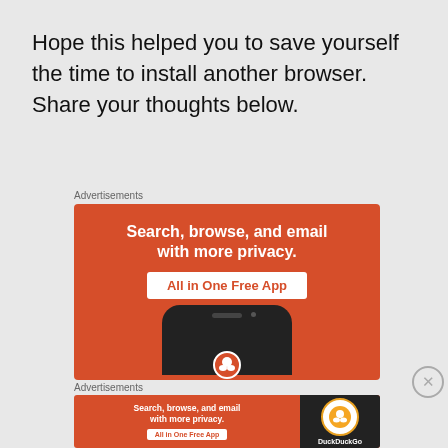Hope this helped you to save yourself the time to install another browser. Share your thoughts below.
Advertisements
[Figure (screenshot): DuckDuckGo advertisement banner: orange background with white bold text 'Search, browse, and email with more privacy.' and a white button 'All in One Free App', with a phone image and duck logo]
Advertisements
[Figure (screenshot): DuckDuckGo small advertisement banner: orange left panel with 'Search, browse, and email with more privacy.' and 'All in One Free App' button, dark right panel with DuckDuckGo logo and brand name]